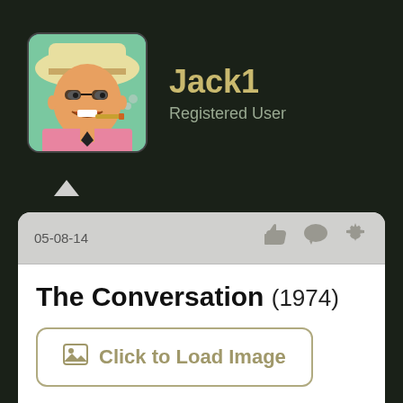[Figure (illustration): Cartoon avatar of a man in a cowboy hat smoking a cigar, wearing a pink shirt]
Jack1
Registered User
05-08-14
The Conversation (1974)
[Figure (other): Click to Load Image button placeholder]
Director: Francis Ford Coppola
Cast overview: Gene Hackman, John Cazale
Running time: 113 minutes